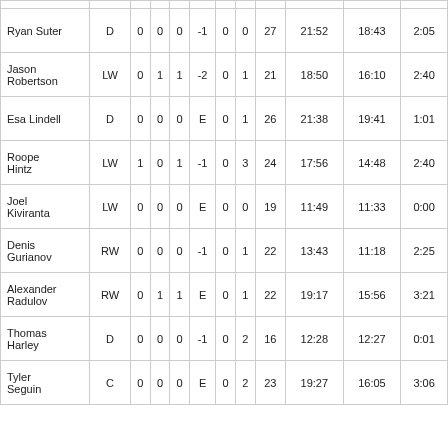| Player | Pos | G | A | P | +/- | PIM | S | TOI | EVT | PPT |
| --- | --- | --- | --- | --- | --- | --- | --- | --- | --- | --- |
| Ryan Suter | D | 0 | 0 | 0 | -1 | 0 | 0 | 27 | 21:52 | 18:43 | 2:05 |
| Jason Robertson | LW | 0 | 1 | 1 | -2 | 0 | 1 | 21 | 18:50 | 16:10 | 2:40 |
| Esa Lindell | D | 0 | 0 | 0 | E | 0 | 1 | 26 | 21:38 | 19:41 | 1:01 |
| Roope Hintz | LW | 1 | 0 | 1 | -1 | 0 | 3 | 24 | 17:56 | 14:48 | 2:40 |
| Joel Kiviranta | LW | 0 | 0 | 0 | E | 0 | 0 | 19 | 11:49 | 11:33 | 0:00 |
| Denis Gurianov | RW | 0 | 0 | 0 | -1 | 0 | 1 | 22 | 13:43 | 11:18 | 2:25 |
| Alexander Radulov | RW | 0 | 1 | 1 | E | 0 | 1 | 22 | 19:17 | 15:56 | 3:21 |
| Thomas Harley | D | 0 | 0 | 0 | -1 | 0 | 2 | 16 | 12:28 | 12:27 | 0:01 |
| Tyler Seguin | C | 0 | 0 | 0 | E | 0 | 2 | 23 | 19:27 | 16:05 | 3:06 |